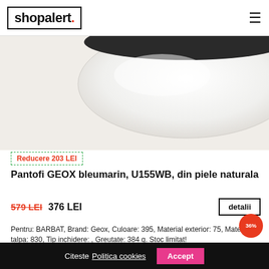shopalert.
[Figure (photo): Partial view of a white shoe sole against a light background]
Reducere 203 LEI
Pantofi GEOX bleumarin, U155WB, din piele naturala
579 LEI  376 LEI
Pentru: BARBAT, Brand: Geox, Culoare: 395, Material exterior: 75, Material talpa: 830, Tip inchidere: , Greutate: 384 g. Stoc limitat!
Citeste Politica cookies  Accept